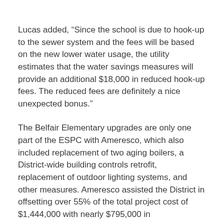Lucas added, “Since the school is due to hook-up to the sewer system and the fees will be based on the new lower water usage, the utility estimates that the water savings measures will provide an additional $18,000 in reduced hook-up fees. The reduced fees are definitely a nice unexpected bonus.”
The Belfair Elementary upgrades are only one part of the ESPC with Ameresco, which also included replacement of two aging boilers, a District-wide building controls retrofit, replacement of outdoor lighting systems, and other measures. Ameresco assisted the District in offsetting over 55% of the total project cost of $1,444,000 with nearly $795,000 in